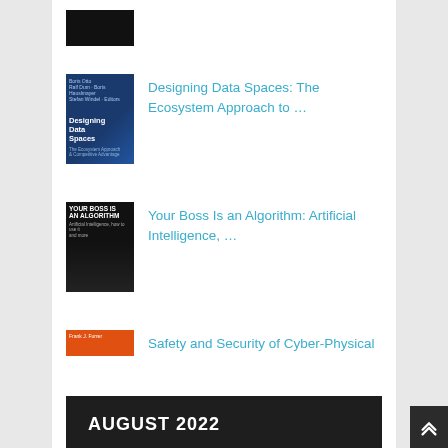[Figure (photo): Partial book cover at top, dark/blue tones]
Designing Data Spaces: The Ecosystem Approach to …
Your Boss Is an Algorithm: Artificial Intelligence, …
Safety and Security of Cyber-Physical Systems: Engineering …
AUGUST 2022